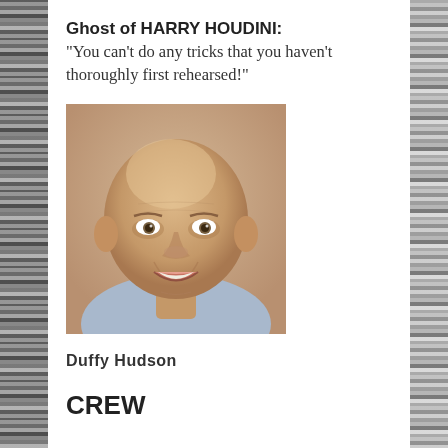Ghost of HARRY HOUDINI: "You can't do any tricks that you haven't thoroughly first rehearsed!"
[Figure (photo): Headshot portrait of a bald man smiling, wearing a light blue shirt, warm studio lighting]
Duffy Hudson
CREW